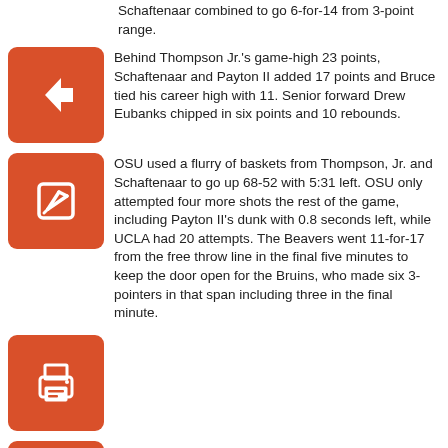Schaftenaar combined to go 6-for-14 from 3-point range.
[Figure (other): Orange square icon with a left-pointing arrow (back navigation button)]
Behind Thompson Jr.'s game-high 23 points, Schaftenaar and Payton II added 17 points and Bruce tied his career high with 11. Senior forward Drew Eubanks chipped in six points and 10 rebounds.
[Figure (other): Orange square icon with a pencil/edit symbol]
OSU used a flurry of baskets from Thompson, Jr. and Schaftenaar to go up 68-52 with 5:31 left. OSU only attempted four more shots the rest of the game, including Payton II's dunk with 0.8 seconds left, while UCLA had 20 attempts. The Beavers went 11-for-17 from the free throw line in the final five minutes to keep the door open for the Bruins, who made six 3-pointers in that span including three in the final minute.
[Figure (other): Orange square icon with a printer symbol]
[Figure (other): Orange square icon with a PDF/document symbol]
OSU ended up on top, though, pushing OSU towards a likely NCAA Tournament berth for the first time since 1990.
On Twitter @BrightTies